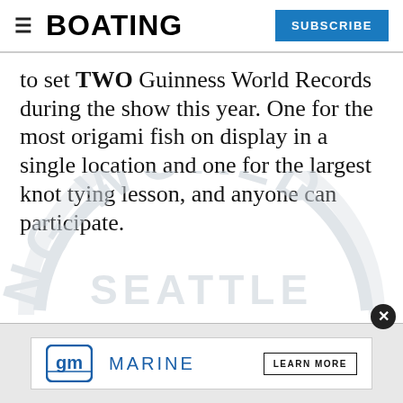BOATING | SUBSCRIBE
to set TWO Guinness World Records during the show this year. One for the most origami fish on display in a single location and one for the largest knot tying lesson, and anyone can participate.
[Figure (logo): Boating World Seattle watermark logo in light gray, showing curved text 'NG WORLD' on top arc and 'SEATTLE' across center]
[Figure (logo): GM Marine advertisement banner with GM logo, 'MARINE' text, and 'LEARN MORE' button]